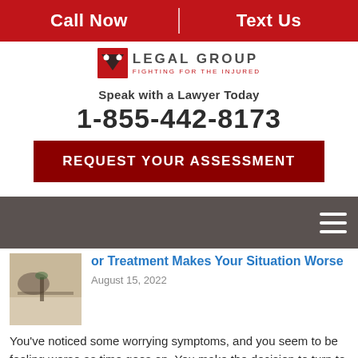Call Now | Text Us
[Figure (logo): Legal Group - Fighting for the Injured logo with Texas flag icon]
Speak with a Lawyer Today
1-855-442-8173
REQUEST YOUR ASSESSMENT
[Figure (screenshot): Dark gray navigation bar with hamburger menu icon on right]
or Treatment Makes Your Situation Worse
August 15, 2022
You've noticed some worrying symptoms, and you seem to be feeling worse as time goes on. You make the decision to turn to a doctor...